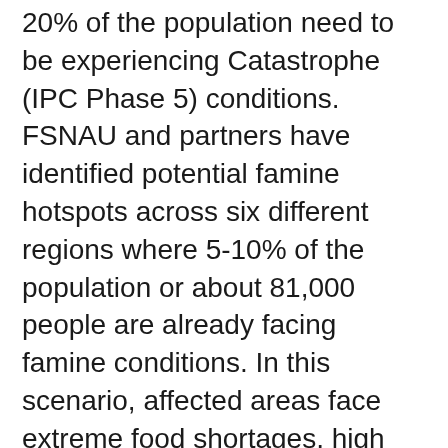20% of the population need to be experiencing Catastrophe (IPC Phase 5) conditions. FSNAU and partners have identified potential famine hotspots across six different regions where 5-10% of the population or about 81,000 people are already facing famine conditions. In this scenario, affected areas face extreme food shortages, high malnutrition and excess mortality as a result of starvation.
FAO, OCHA, UNICEF and WFP are gravely concerned about the worsening drought and the possibility of famine in the coming three months. With current funding shortfalls, bleak rainfall forecasts, and rising food prices globally, the agencies are calling for